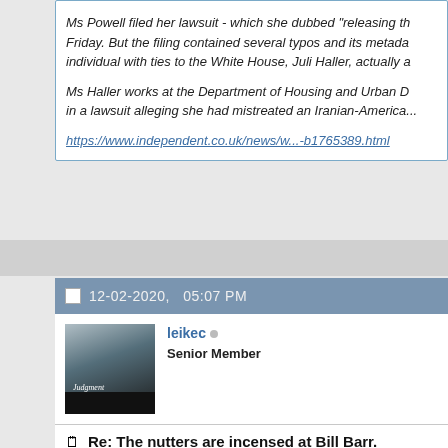Ms Powell filed her lawsuit - which she dubbed "releasing the kraken" on Friday. But the filing contained several typos and its metadata showed that an individual with ties to the White House, Juli Haller, actually a...
Ms Haller works at the Department of Housing and Urban D... in a lawsuit alleging she had mistreated an Iranian-America...
https://www.independent.co.uk/news/w...-b1765389.html
12-02-2020,   05:07 PM
leikec
Senior Member
Re: The nutters are incensed at Bill Barr.
The next 50 days or so will be truly bizarre...

Jeff C